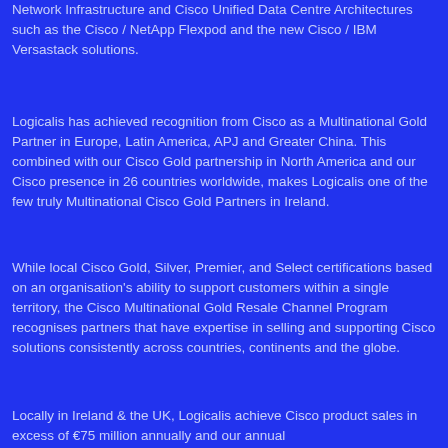Network Infrastructure and Cisco Unified Data Centre Architectures such as the Cisco / NetApp Flexpod and the new Cisco / IBM Versastack solutions.
Logicalis has achieved recognition from Cisco as a Multinational Gold Partner in Europe, Latin America, APJ and Greater China. This combined with our Cisco Gold partnership in North America and our Cisco presence in 26 countries worldwide, makes Logicalis one of the few truly Multinational Cisco Gold Partners in Ireland.
While local Cisco Gold, Silver, Premier, and Select certifications based on an organisation's ability to support customers within a single territory, the Cisco Multinational Gold Resale Channel Program recognises partners that have expertise in selling and supporting Cisco solutions consistently across countries, continents and the globe.
Locally in Ireland & the UK, Logicalis achieve Cisco product sales in excess of €75 million annually and our annual